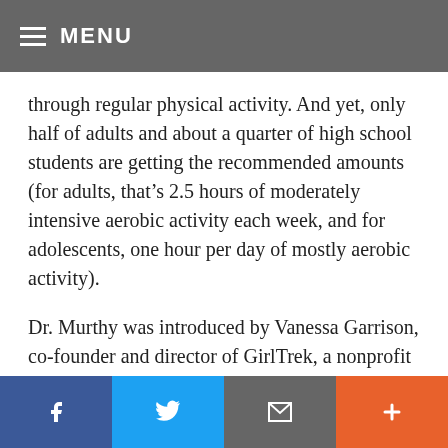MENU
through regular physical activity. And yet, only half of adults and about a quarter of high school students are getting the recommended amounts (for adults, that’s 2.5 hours of moderately intensive aerobic activity each week, and for adolescents, one hour per day of mostly aerobic activity).
Dr. Murthy was introduced by Vanessa Garrison, co-founder and director of GirlTrek, a nonprofit that supports thousands of black women and girls in getting active through walking. Prior to introducing the Surgeon General, Garrison discussed the power